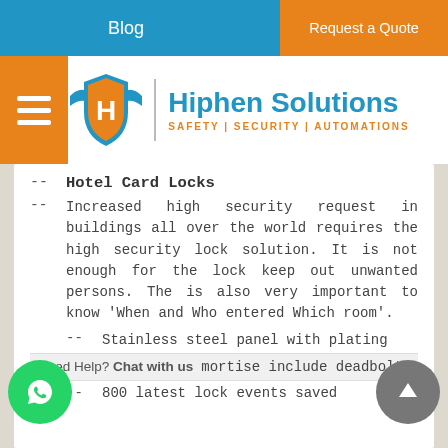Blog | Request a Quote
[Figure (logo): Hiphen Solutions logo with shield icon and text: SAFETY | SECURITY | AUTOMATIONS]
Hotel Card Locks
Increased high security request in buildings all over the world requires the high security lock solution. It is not enough for the lock keep out unwanted persons. The is also very important to know 'When and Who entered Which room'.
Stainless steel panel with plating
Need Help? Chat with us  mortise include deadbolt
800 latest lock events saved